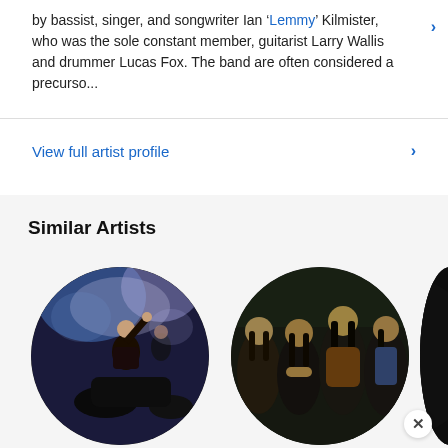by bassist, singer, and songwriter Ian 'Lemmy' Kilmister, who was the sole constant member, guitarist Larry Wallis and drummer Lucas Fox. The band are often considered a precurso...
View full artist profile
Similar Artists
[Figure (photo): Circular photo of Judas Priest performing on stage, singer on motorcycle with leather gear and lights in background]
[Figure (photo): Circular photo of Black Sabbath band members posing together, long hair, dark clothing]
[Figure (photo): Partially visible circular photo of Ozzy, dark background, clipped at page edge]
Judas Priest
Black Sabbath
Ozzy